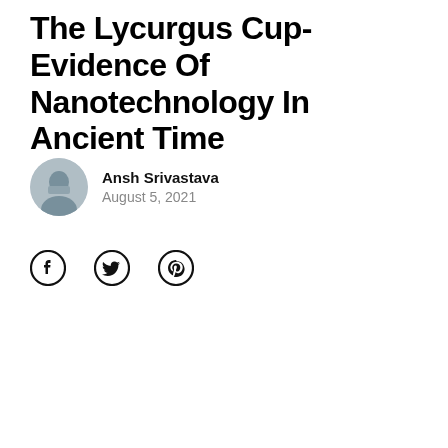The Lycurgus Cup- Evidence Of Nanotechnology In Ancient Time
[Figure (photo): Circular author avatar photo of Ansh Srivastava]
Ansh Srivastava
August 5, 2021
[Figure (infographic): Social media share icons: Facebook, Twitter, Pinterest]